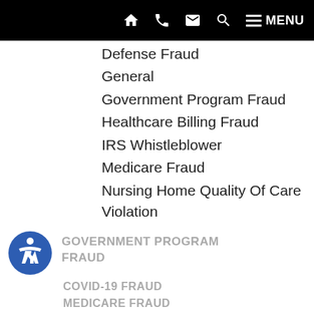Navigation bar with home, phone, email, search, and menu icons
Defense Fraud
General
Government Program Fraud
Healthcare Billing Fraud
IRS Whistleblower
Medicare Fraud
Nursing Home Quality Of Care Violation
GOVERNMENT PROGRAM FRAUD
COVID-19 FRAUD
MEDICARE FRAUD